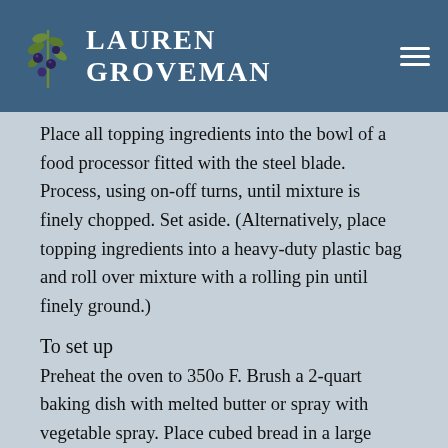Lauren Groveman
Place all topping ingredients into the bowl of a food processor fitted with the steel blade. Process, using on-off turns, until mixture is finely chopped. Set aside. (Alternatively, place topping ingredients into a heavy-duty plastic bag and roll over mixture with a rolling pin until finely ground.)
To set up
Preheat the oven to 350o F. Brush a 2-quart baking dish with melted butter or spray with vegetable spray. Place cubed bread in a large bowl. Place raisins and